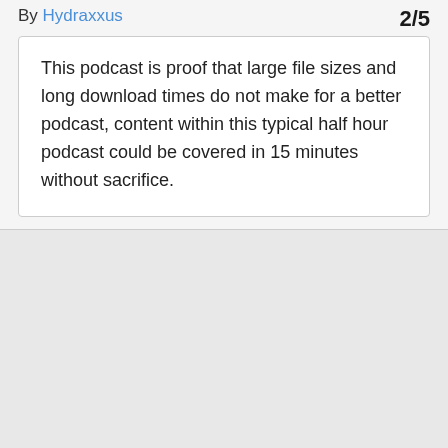By Hydraxxus  2/5
This podcast is proof that large file sizes and long download times do not make for a better podcast, content within this typical half hour podcast could be covered in 15 minutes without sacrifice.